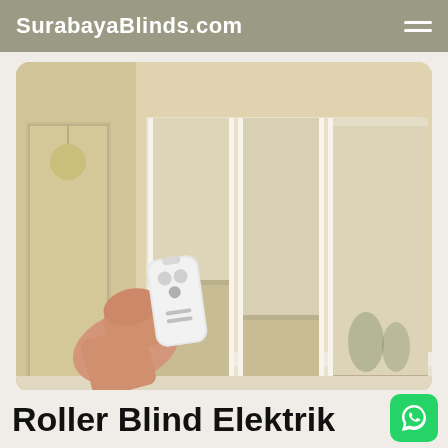SurabayaBlinds.com
[Figure (photo): A hand holding a white remote control pointing at beige roller blinds on multiple windows in a bright interior room with white trim and natural light coming through.]
Roller Blind Elektrik